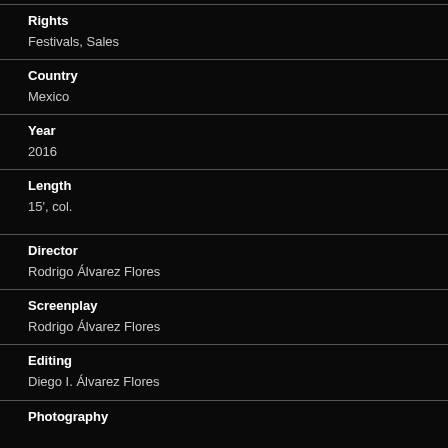Rights
Festivals, Sales
Country
Mexico
Year
2016
Length
15', col.
Director
Rodrigo Álvarez Flores
Screenplay
Rodrigo Álvarez Flores
Editing
Diego I. Álvarez Flores
Photography